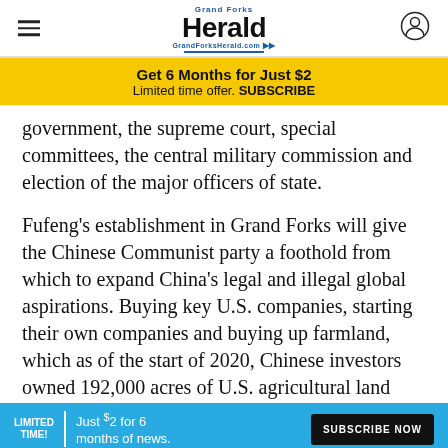Grand Forks Herald — GrandForksHerald.com
Get 6 Months for Just $2
Limited time offer. SUBSCRIBE
government, the supreme court, special committees, the central military commission and election of the major officers of state.
Fufeng's establishment in Grand Forks will give the Chinese Communist party a foothold from which to expand China's legal and illegal global aspirations. Buying key U.S. companies, starting their own companies and buying up farmland, which as of the start of 2020, Chinese investors owned 192,000 acres of U.S. agricultural land valued s, some s,
LIMITED TIME! Just $2 for 6 months of news. SUBSCRIBE NOW